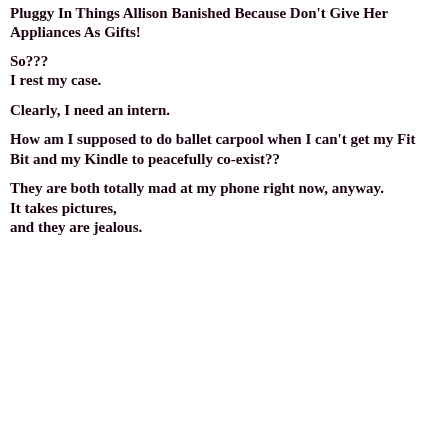Pluggy In Things Allison Banished Because Don't Give Her Appliances As Gifts!
So???
I rest my case.
Clearly, I need an intern.
How am I supposed to do ballet carpool when I can't get my Fit Bit and my Kindle to peacefully co-exist??
They are both totally mad at my phone right now, anyway.
It takes pictures,
and they are jealous.